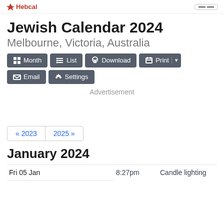Hebcal
Jewish Calendar 2024
Melbourne, Victoria, Australia
Month  List  Download  Print  Email  Settings
Advertisement
« 2023  2025 »
January 2024
| Date | Time | Event |
| --- | --- | --- |
| Fri 05 Jan | 8:27pm | Candle lighting |